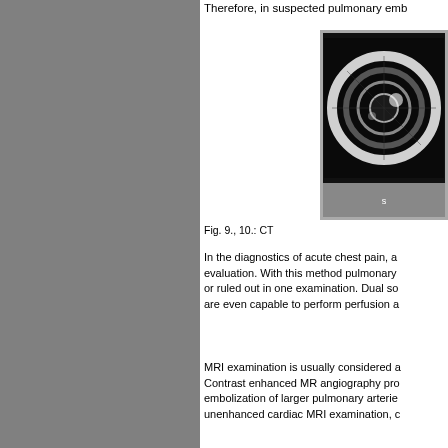Therefore, in suspected pulmonary emb...
[Figure (photo): MRI/CT image showing a cross-section of the chest with circular ring structure, black and white medical imaging]
Fig. 9., 10.: CT...
In the diagnostics of acute chest pain, a... evaluation. With this method pulmonary... or ruled out in one examination. Dual so... are even capable to perform perfusion a...
MRI examination is usually considered a... Contrast enhanced MR angiography pro... embolization of larger pulmonary arterie... unenhanced cardiac MRI examination, c...